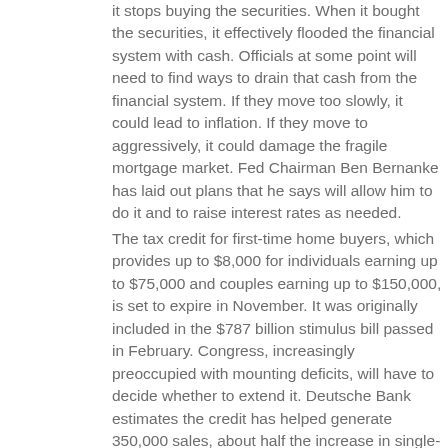it stops buying the securities. When it bought the securities, it effectively flooded the financial system with cash. Officials at some point will need to find ways to drain that cash from the financial system. If they move too slowly, it could lead to inflation. If they move to aggressively, it could damage the fragile mortgage market. Fed Chairman Ben Bernanke has laid out plans that he says will allow him to do it and to raise interest rates as needed.
The tax credit for first-time home buyers, which provides up to $8,000 for individuals earning up to $75,000 and couples earning up to $150,000, is set to expire in November. It was originally included in the $787 billion stimulus bill passed in February. Congress, increasingly preoccupied with mounting deficits, will have to decide whether to extend it. Deutsche Bank estimates the credit has helped generate 350,000 sales, about half the increase in single-family home sales in the past six months.